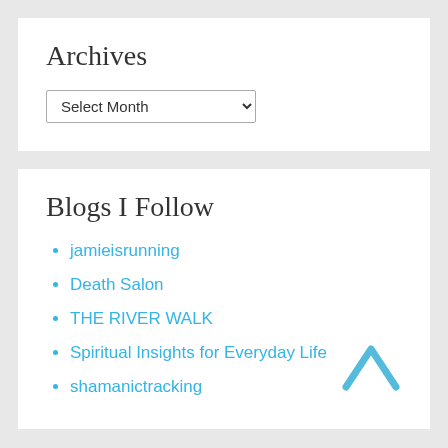Archives
Select Month
Blogs I Follow
jamieisrunning
Death Salon
THE RIVER WALK
Spiritual Insights for Everyday Life
shamanictracking